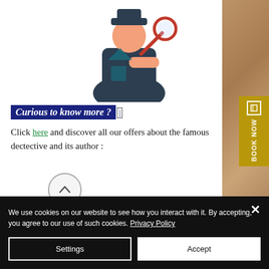[Figure (illustration): Cartoon illustration of a detective figure in dark coat holding a magnifying glass, partially cropped at top]
Curious to know more ?
Click here and discover all our offers about the famous dectective and its author :
[Figure (other): Circular up-arrow navigation button]
[Figure (other): Right sidebar with textured brown/tan background (aged newspaper or map texture)]
BOOK NOW
We use cookies on our website to see how you interact with it. By accepting, you agree to our use of such cookies. Privacy Policy
Settings
Accept